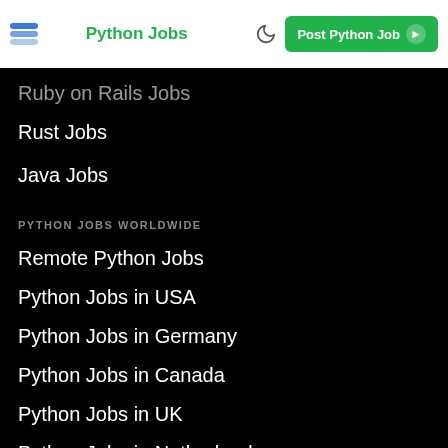Python Jobs | Post Python Job
Ruby on Rails Jobs
Rust Jobs
Java Jobs
PYTHON JOBS WORLDWIDE
Remote Python Jobs
Python Jobs in USA
Python Jobs in Germany
Python Jobs in Canada
Python Jobs in UK
Python Jobs in Netherlands